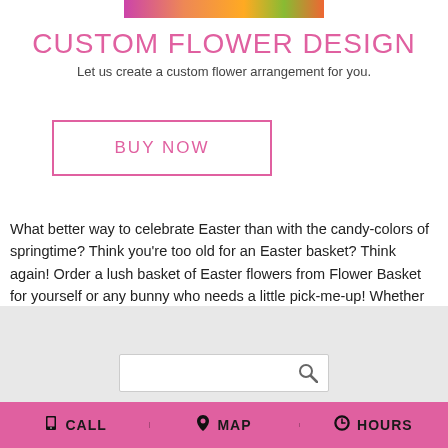[Figure (photo): Colorful flower arrangement image strip at the top of the page]
CUSTOM FLOWER DESIGN
Let us create a custom flower arrangement for you.
BUY NOW
What better way to celebrate Easter than with the candy-colors of springtime? Think you're too old for an Easter basket? Think again! Order a lush basket of Easter flowers from Flower Basket for yourself or any bunny who needs a little pick-me-up! Whether your style is bright and cheery gerbera daisies or powdery pastel lilies, this Middlebury florist has you covered!
[Figure (screenshot): Search bar with magnifying glass icon]
CALL   MAP   HOURS